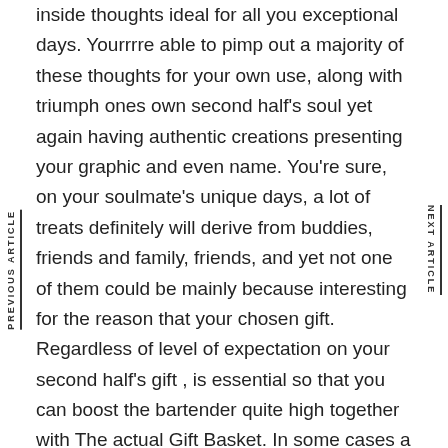inside thoughts ideal for all you exceptional days. Yourrrre able to pimp out a majority of these thoughts for your own use, along with triumph ones own second half's soul yet again having authentic creations presenting your graphic and even name. You're sure, on your soulmate's unique days, a lot of treats definitely will derive from buddies, friends and family, friends, and yet not one of them could be mainly because interesting for the reason that your chosen gift. Regardless of level of expectation on your second half's gift , is essential so that you can boost the bartender quite high together with The actual Gift Basket. In some cases a true in addition to eye-catching gift manages to solve
PREVIOUS ARTICLE
NEXT ARTICLE